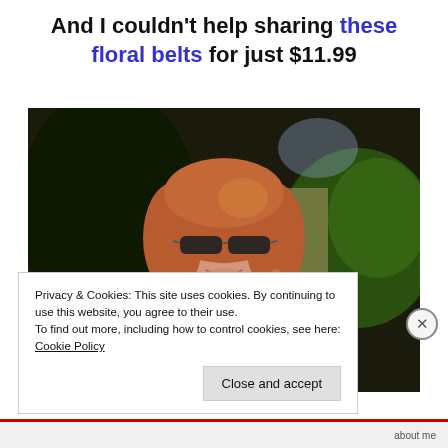And I couldn't help sharing these floral belts for just $11.99
[Figure (photo): A woman with red-auburn bob hair and dark sunglasses, smiling, wearing a black polka-dot top, photographed outdoors in front of green trees and foliage.]
Privacy & Cookies: This site uses cookies. By continuing to use this website, you agree to their use.
To find out more, including how to control cookies, see here: Cookie Policy